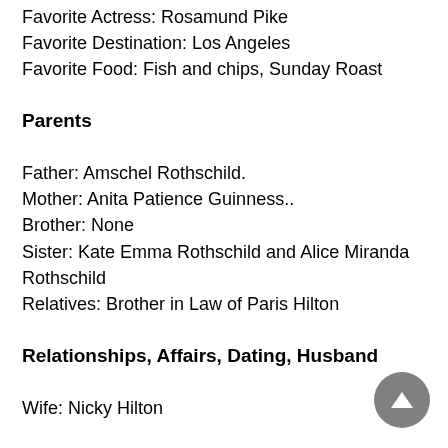Favorite Actress: Rosamund Pike
Favorite Destination: Los Angeles
Favorite Food: Fish and chips, Sunday Roast
Parents
Father: Amschel Rothschild.
Mother: Anita Patience Guinness..
Brother: None
Sister: Kate Emma Rothschild and Alice Miranda Rothschild
Relatives: Brother in Law of Paris Hilton
Relationships, Affairs, Dating, Husband
Wife: Nicky Hilton